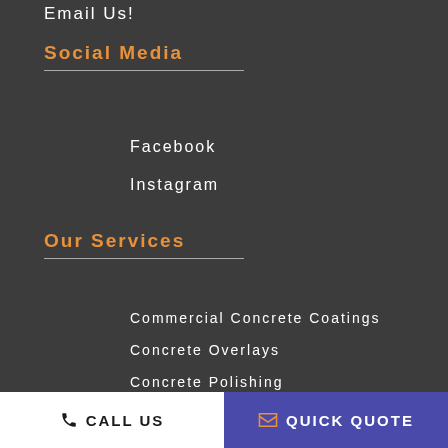Email Us!
Social Media
Facebook
Instagram
Our Services
Commercial Concrete Coatings
Concrete Overlays
Concrete Polishing
Concrete Staining
CALL US
QUICK QUOTE